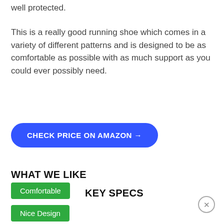well protected.
This is a really good running shoe which comes in a variety of different patterns and is designed to be as comfortable as possible with as much support as you could ever possibly need.
[Figure (other): Blue rounded button labeled CHECK PRICE ON AMAZON →]
WHAT WE LIKE
Comfortable
KEY SPECS
Nice Design
Affordable
Good Reviews
Rubber Sole